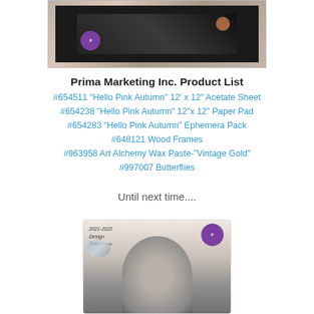[Figure (photo): Top photo showing a Prima Marketing craft project with a dark framed piece featuring floral/autumn elements, on a textured background. Prima Marketing logo visible.]
Prima Marketing Inc. Product List
#654511  "Hello Pink Autumn" 12' x 12" Acetate Sheet
#654238  "Hello Pink Autumn" 12"x 12" Paper Pad
#654283  "Hello Pink Autumn" Ephemera Pack
#648121  Wood Frames
#963958  Art Alchemy Wax Paste-"Vintage Gold"
#997007  Butterflies
Until next time....
[Figure (photo): Bottom photo showing a person (design team member) in black and white with Prima Marketing 2021-2022 Design Team badge/frame overlay with floral decorations.]